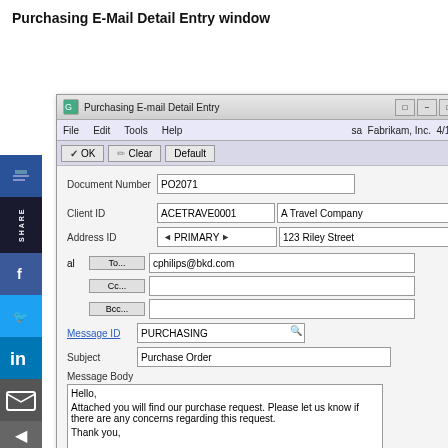Purchasing E-Mail Detail Entry window
[Figure (screenshot): Screenshot of the Purchasing E-mail Detail Entry window in Microsoft Dynamics GP, showing fields for Document Number (PO2071), Client ID (ACETRAVE0001, A Travel Company), Address ID (PRIMARY, 123 Riley Street), email To/Cc/Bcc fields with cphilips@bkd.com in To, Message ID (PURCHASING), Subject (Purchase Order), Message Body with a purchase request message, and Have replies sent to section with Select Names button.]